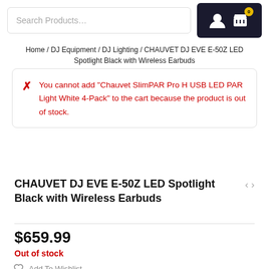Search Products...
Home / DJ Equipment / DJ Lighting / CHAUVET DJ EVE E-50Z LED Spotlight Black with Wireless Earbuds
You cannot add "Chauvet SlimPAR Pro H USB LED PAR Light White 4-Pack" to the cart because the product is out of stock.
CHAUVET DJ EVE E-50Z LED Spotlight Black with Wireless Earbuds
$659.99
Out of stock
Add To Wishlist
SKU: CHAEVEE50Z-Erb